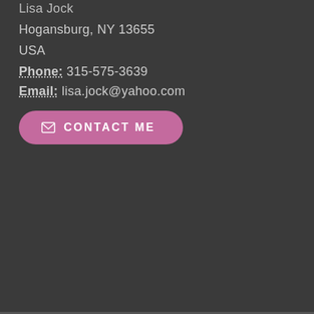Lisa Jock
Hogansburg, NY 13655
USA
Phone: 315-575-3639
Email: lisa.jock@yahoo.com
[Figure (other): Pink rounded button with envelope icon and text CONTACT ME]